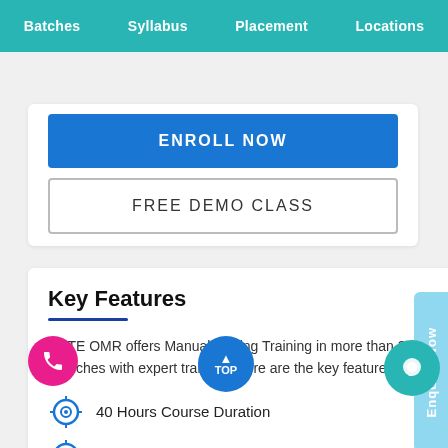Batches  Syllabus  Placement  Locations
ENROLL NOW
FREE DEMO CLASS
Key Features
ACTE OMR offers Manual Testing Training in more than 27+ branches with expert trainers. Here are the key features,
40 Hours Course Duration
100% Job Oriented Training
Industry Expert Faculties